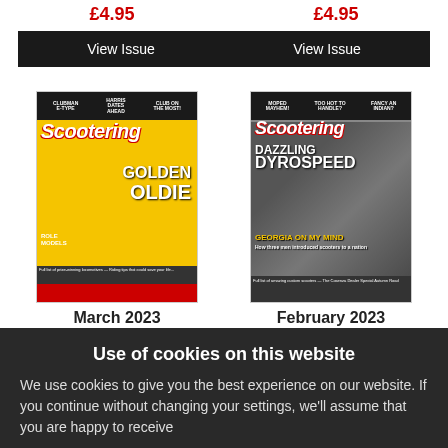£4.95 / £4.95
View Issue / View Issue
[Figure (photo): Scootering magazine cover - March 2023, showing a yellow scooter with headline 'GOLDEN OLDIE']
[Figure (photo): Scootering magazine cover - February 2023, showing a red custom scooter with headline 'DAZZLING DYROSPEED' and 'GEORGIA ON MY MIND']
March 2023
February 2023
Use of cookies on this website
We use cookies to give you the best experience on our website. If you continue without changing your settings, we'll assume that you are happy to receive